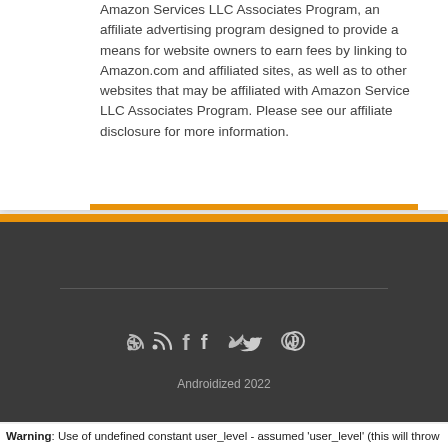Amazon Services LLC Associates Program, an affiliate advertising program designed to provide a means for website owners to earn fees by linking to Amazon.com and affiliated sites, as well as to other websites that may be affiliated with Amazon Service LLC Associates Program. Please see our affiliate disclosure for more information.
Androidized 2022
Warning: Use of undefined constant user_level - assumed 'user_level' (this will throw an Error in a future version of PHP) in /home/android/public_html/wp-content/plugins/ultimate-google-analytics/ultimate_ga.php on line 524